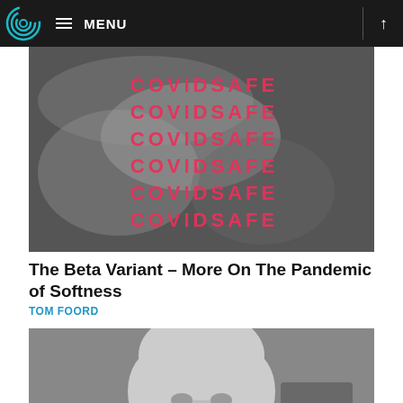MENU
[Figure (photo): Black and white photo of gloved hands with red repeated text overlay reading COVIDSAFE multiple times]
The Beta Variant – More On The Pandemic of Softness
TOM FOORD
[Figure (photo): Black and white photo of a smiling child with Down syndrome]
Murray's Hypotheticals: The Tribespeople